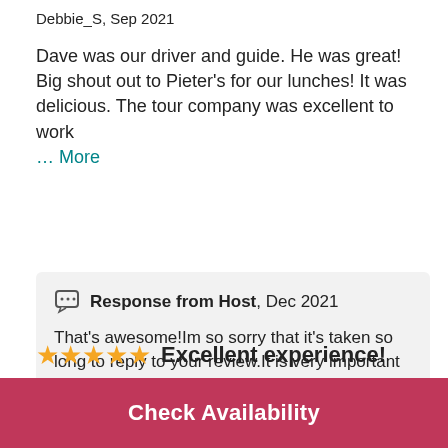Debbie_S, Sep 2021
Dave was our driver and guide. He was great! Big shout out to Pieter's for our lunches! It was delicious. The tour company was excellent to work … More
Response from Host, Dec 2021
That's awesome!Im so sorry that it's taken so long to reply to your review.It is very important that we know how our guests … More
⭐⭐⭐⭐⭐ Excellent experience!
Check Availability